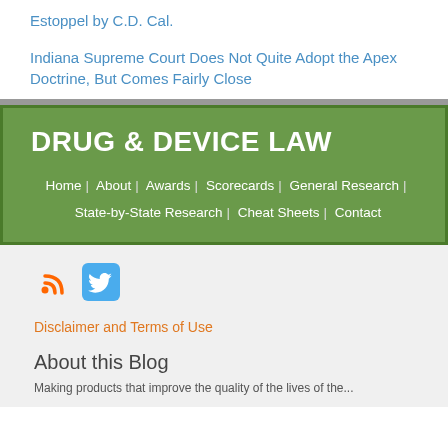Estoppel by C.D. Cal.
Indiana Supreme Court Does Not Quite Adopt the Apex Doctrine, But Comes Fairly Close
DRUG & DEVICE LAW
Home | About | Awards | Scorecards | General Research | State-by-State Research | Cheat Sheets | Contact
[Figure (other): RSS feed icon (orange) and Twitter bird icon (blue)]
Disclaimer and Terms of Use
About this Blog
Making products that improve the quality of the lives of the...